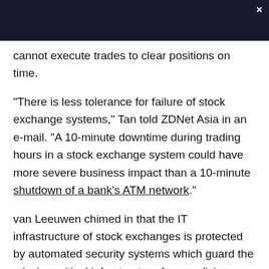cannot execute trades to clear positions on time.
"There is less tolerance for failure of stock exchange systems," Tan told ZDNet Asia in an e-mail. "A 10-minute downtime during trading hours in a stock exchange system could have more severe business impact than a 10-minute shutdown of a bank's ATM network."
van Leeuwen chimed in that the IT infrastructure of stock exchanges is protected by automated security systems which guard the mission-critical infrastructure from malicious parties. These allow